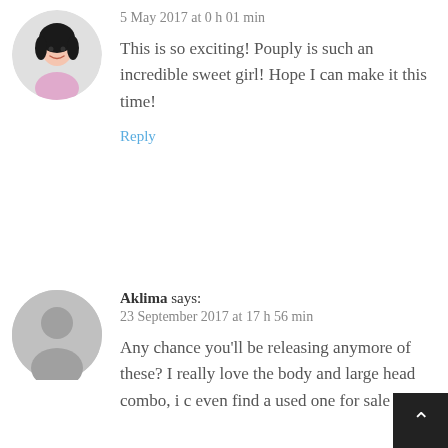5 May 2017 at 0 h 01 min
This is so exciting! Pouply is such an incredible sweet girl! Hope I can make it this time!
Reply
Aklima says:
23 September 2017 at 17 h 56 min
Any chance you'll be releasing anymore of these? I really love the body and large head combo, i c even find a used one for sale *